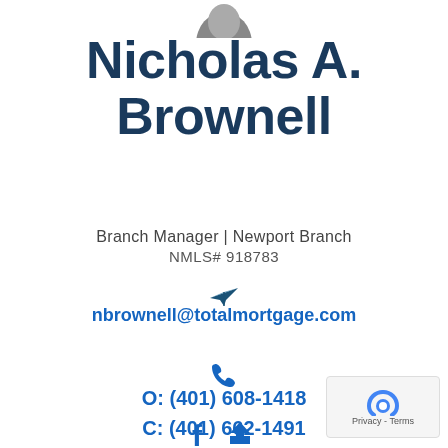[Figure (photo): Partial headshot photo of Nicholas A. Brownell at the top of the card]
Nicholas A. Brownell
Branch Manager | Newport Branch
NMLS# 918783
[Figure (illustration): Paper airplane / send icon in dark blue/teal]
nbrownell@totalmortgage.com
[Figure (illustration): Phone/telephone icon in blue]
O: (401) 608-1418
C: (401) 662-1491
[Figure (illustration): Facebook 'f' icon and Zillow house icon at bottom]